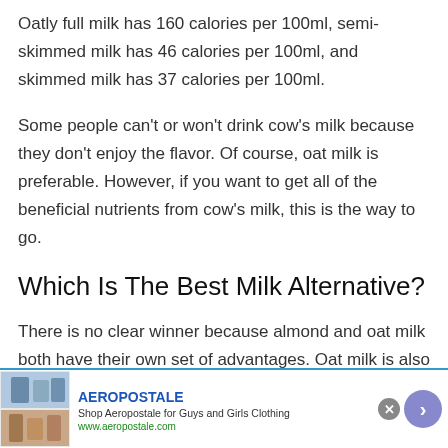Oatly full milk has 160 calories per 100ml, semi-skimmed milk has 46 calories per 100ml, and skimmed milk has 37 calories per 100ml.
Some people can't or won't drink cow's milk because they don't enjoy the flavor. Of course, oat milk is preferable. However, if you want to get all of the beneficial nutrients from cow's milk, this is the way to go.
Which Is The Best Milk Alternative?
There is no clear winner because almond and oat milk both have their own set of advantages. Oat milk is also
[Figure (other): Aeropostale advertisement banner with clothing images, brand name, tagline 'Shop Aeropostale for Guys and Girls Clothing', URL www.aeropostale.com, close button, and navigation arrow]